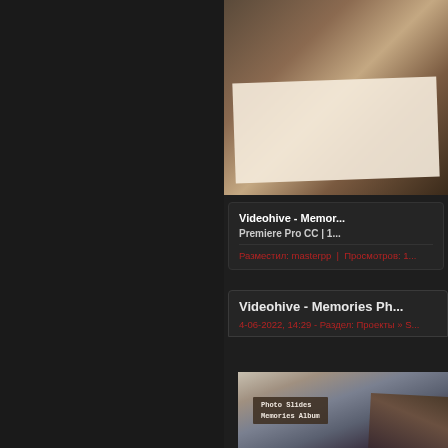[Figure (photo): Photo of a woman in white dress, outdoor scene with warm tones, appears as a tilted photo print]
Videohive - Memor... Premiere Pro CC | 1...
Разместил: masterpp  |  Просмотров: 1...
Videohive - Memories Ph...
4-06-2022, 14:29 - Раздел: Проекты » S...
[Figure (screenshot): Video template thumbnail showing 'Photo Slides Memories Album' text on aged paper background with couple photos]